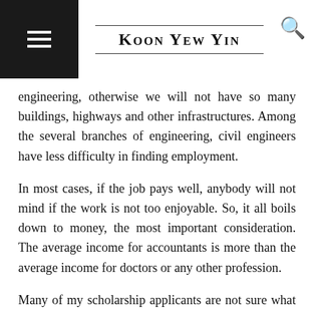Koon Yew Yin
engineering, otherwise we will not have so many buildings, highways and other infrastructures. Among the several branches of engineering, civil engineers have less difficulty in finding employment.
In most cases, if the job pays well, anybody will not mind if the work is not too enjoyable. So, it all boils down to money, the most important consideration. The average income for accountants is more than the average income for doctors or any other profession.
Many of my scholarship applicants are not sure what they want to study. To save my time and effort, I have prepared this article for them. I have given scholarships to about 300 poor students whose family income is less than Rm 3,000 per month to help them complete their tertiary education